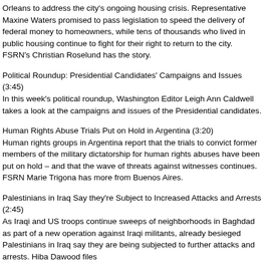Orleans to address the city's ongoing housing crisis. Representative Maxine Waters promised to pass legislation to speed the delivery of federal money to homeowners, while tens of thousands who lived in public housing continue to fight for their right to return to the city. FSRN's Christian Roselund has the story.
Political Roundup: Presidential Candidates' Campaigns and Issues (3:45)
In this week's political roundup, Washington Editor Leigh Ann Caldwell takes a look at the campaigns and issues of the Presidential candidates.
Human Rights Abuse Trials Put on Hold in Argentina (3:20)
Human rights groups in Argentina report that the trials to convict former members of the military dictatorship for human rights abuses have been put on hold – and that the wave of threats against witnesses continues. FSRN Marie Trigona has more from Buenos Aires.
Palestinians in Iraq Say they're Subject to Increased Attacks and Arrests (2:45)
As Iraqi and US troops continue sweeps of neighborhoods in Baghdad as part of a new operation against Iraqi militants, already besieged Palestinians in Iraq say they are being subjected to further attacks and arrests. Hiba Dawood files